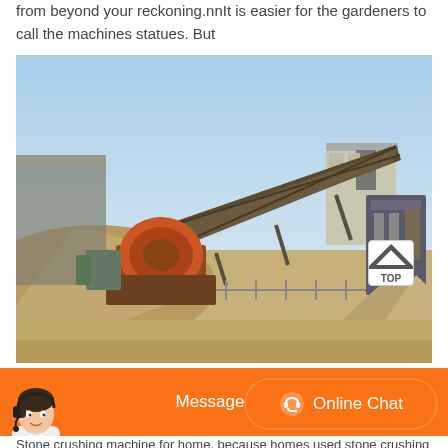from beyond your reckoning.nnIt is easier for the gardeners to call the machines statues. But
[Figure (photo): Outdoor stone crushing industrial machine facility with conveyor belt, orange jaw crusher, sandy terrain and piles of crushed stone/gravel under clear blue sky.]
[Figure (infographic): Orange chat bar with avatar of woman wearing headset on the left, a 'Message' button in the center, and an 'Online Chat' button with headset icon on the right.]
Stone crushing machine for home, because homes used stone crushing